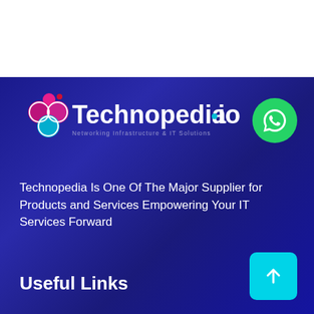[Figure (logo): Technopedia.io logo with colorful cloud/network icon and text 'Technopedia.io' with subtitle 'Networking Infrastructure & IT Solutions']
[Figure (illustration): Green WhatsApp button (circle with WhatsApp icon)]
Technopedia Is One Of The Major Supplier for Products and Services Empowering Your IT Services Forward
Useful Links
[Figure (illustration): Cyan/turquoise square button with upward arrow icon]